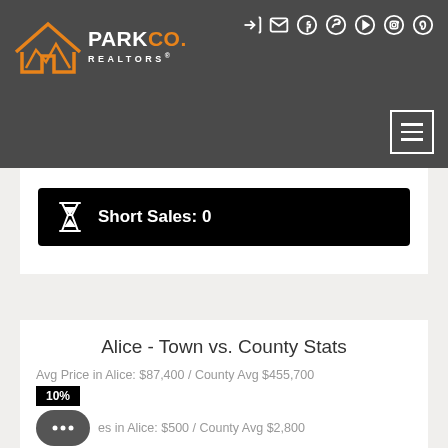[Figure (logo): Park Co. Realtors logo with orange house icon and social media icons in dark gray header bar]
Short Sales: 0
Alice - Town vs. County Stats
Avg Price in Alice: $87,400 / County Avg $455,700
10%
es in Alice: $500 / County Avg $2,800
10%